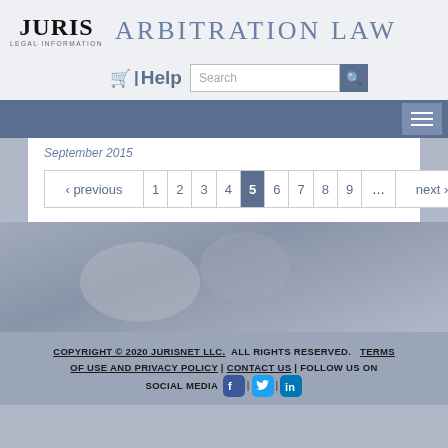JURIS LEGAL INFORMATION | ARBITRATION LAW
Help | Search
September 2015
‹ previous  1  2  3  4  5  6  7  8  9  ...  next ›
COPYRIGHT © 2020 JURISNET LLC. ALL RIGHTS RESERVED. TERMS OF USE AND PRIVACY POLICY | CONTACT US | FOLLOW US ON SOCIAL MEDIA